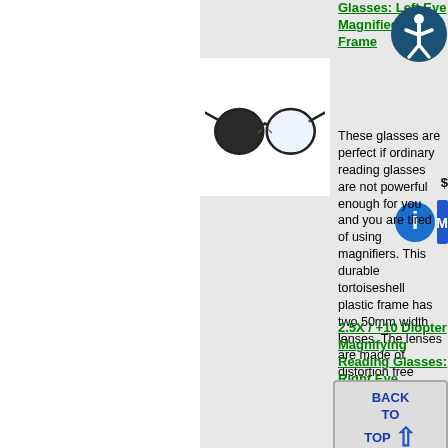Glasses: Left Eye Magnified - Black Frame
[Figure (photo): Reading glasses with one dark lens on the left eye (magnifying) and one clear lens on the right, black frame, shown on white background]
These glasses are perfect if ordinary reading glasses are not powerful enough for you and you are tired of using magnifiers. This durable tortoiseshell plastic frame has two 50mm width lenses. The lenses are made of distortion free optics and come in 9 different magnification powers (Diopters) in...
2.5X / +10 Diopter Magnifying Reading Glasses: Right Eye Magnified - Tortoise Frame
These glasses are perfect if...